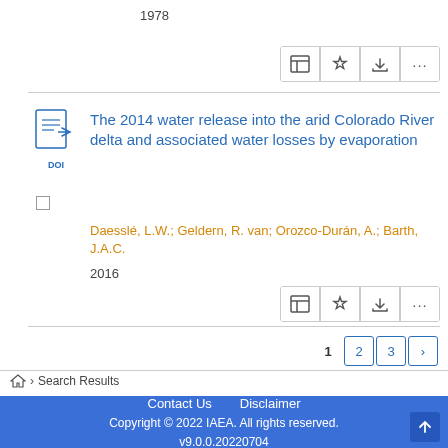1978
The 2014 water release into the arid Colorado River delta and associated water losses by evaporation
Daesslé, L.W.; Geldern, R. van; Orozco-Durán, A.; Barth, J.A.C.
2016
Contact Us   Disclaimer
Copyright © 2022 IAEA. All rights reserved.
v9.0.0.20220704